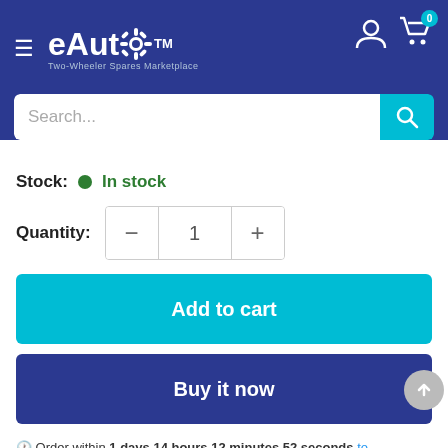[Figure (logo): eAuto Two-Wheeler Spares Marketplace logo in white on dark blue background with gear icon and TM mark]
Search...
Stock: • In stock
Quantity: − 1 +
Add to cart
Buy it now
🕐 Order within 1 days 14 hours 12 minutes 52 seconds to